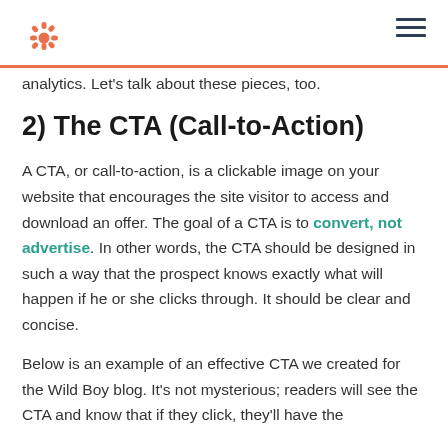HubSpot logo and navigation
analytics. Let’s talk about these pieces, too.
2) The CTA (Call-to-Action)
A CTA, or call-to-action, is a clickable image on your website that encourages the site visitor to access and download an offer. The goal of a CTA is to convert, not advertise. In other words, the CTA should be designed in such a way that the prospect knows exactly what will happen if he or she clicks through. It should be clear and concise.
Below is an example of an effective CTA we created for the Wild Boy blog. It’s not mysterious; readers will see the CTA and know that if they click, they’ll have the